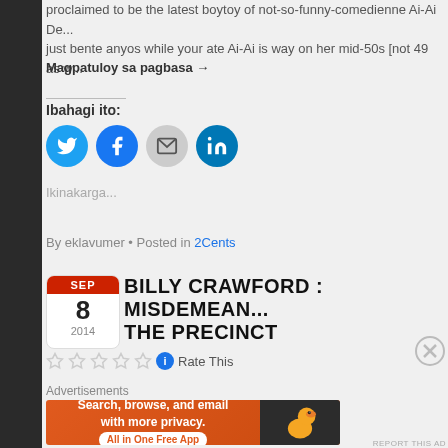proclaimed to be the latest boytoy of not-so-funny-comedienne Ai-Ai De... just bente anyos while your ate Ai-Ai is way on her mid-50s [not 49 as w...
Magpatuloy sa pagbasa →
Ibahagi ito:
[Figure (infographic): Social share buttons: Twitter (blue circle), Facebook (blue circle), Email (grey circle), LinkedIn (blue circle)]
Ikinakarga...
By eklavumer • Posted in 2Cents
[Figure (infographic): Calendar icon showing SEP 8 2014]
BILLY CRAWFORD : MISDEMEAN... THE PRECINCT
[Figure (infographic): Five empty star rating icons, info button, and Rate This text]
Advertisements
[Figure (infographic): DuckDuckGo advertisement banner: Search, browse, and email with more privacy. All in One Free App]